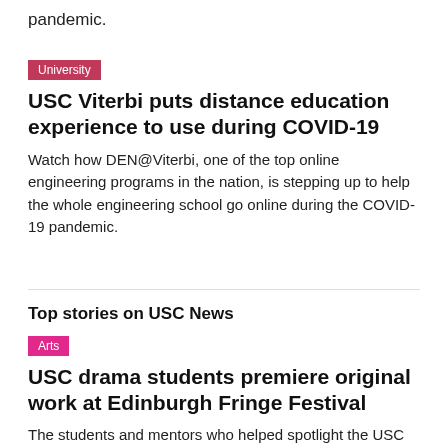pandemic.
University
USC Viterbi puts distance education experience to use during COVID-19
Watch how DEN@Viterbi, one of the top online engineering programs in the nation, is stepping up to help the whole engineering school go online during the COVID-19 pandemic.
Top stories on USC News
Arts
USC drama students premiere original work at Edinburgh Fringe Festival
The students and mentors who helped spotlight the USC